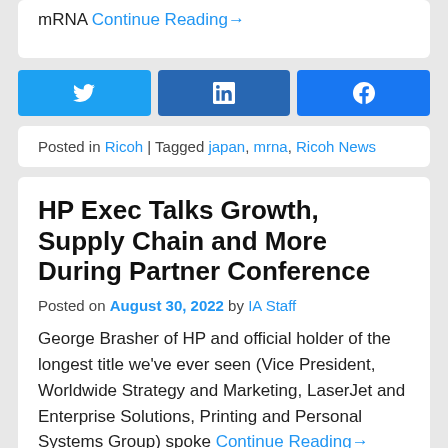mRNA Continue Reading→
Posted in Ricoh | Tagged japan, mrna, Ricoh News
HP Exec Talks Growth, Supply Chain and More During Partner Conference
Posted on August 30, 2022 by IA Staff
George Brasher of HP and official holder of the longest title we've ever seen (Vice President, Worldwide Strategy and Marketing, LaserJet and Enterprise Solutions, Printing and Personal Systems Group) spoke Continue Reading→